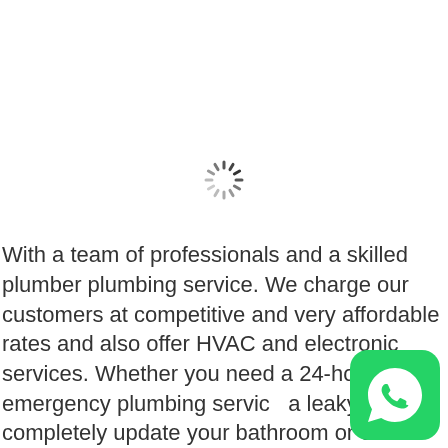[Figure (other): Spinning/loading indicator icon — a circular spinner with dashes arranged in a clock pattern, darker at top-right fading to lighter at bottom-left]
With a team of professionals and a skilled plumber plumbing service. We charge our customers at competitive and very affordable rates and also offer HVAC and electronic services. Whether you need a 24-hour emergency plumbing service a leaky toilet or completely update your bathroom or other
[Figure (logo): WhatsApp logo — green rounded square with white phone handset icon inside]